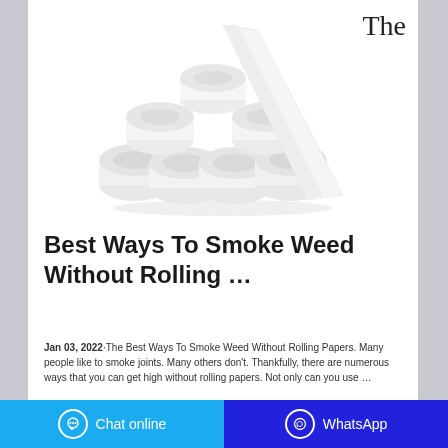The
[Figure (photo): Stack of toilet paper rolls arranged in a pyramid shape on white background]
Best Ways To Smoke Weed Without Rolling …
Jan 03, 2022·The Best Ways To Smoke Weed Without Rolling Papers. Many people like to smoke joints. Many others don't. Thankfully, there are numerous ways that you can get high without rolling papers. Not only can you use …
Chat online   WhatsApp